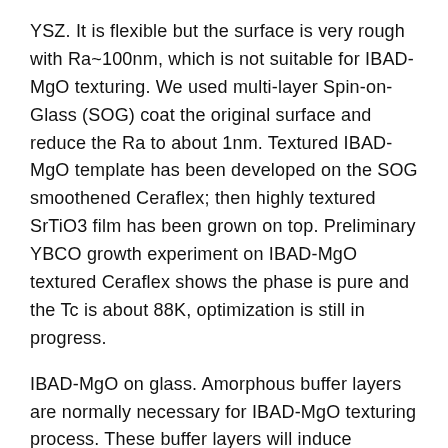YSZ. It is flexible but the surface is very rough with Ra~100nm, which is not suitable for IBAD-MgO texturing. We used multi-layer Spin-on-Glass (SOG) coat the original surface and reduce the Ra to about 1nm. Textured IBAD-MgO template has been developed on the SOG smoothened Ceraflex; then highly textured SrTiO3 film has been grown on top. Preliminary YBCO growth experiment on IBAD-MgO textured Ceraflex shows the phase is pure and the Tc is about 88K, optimization is still in progress.
IBAD-MgO on glass. Amorphous buffer layers are normally necessary for IBAD-MgO texturing process. These buffer layers will induce additional loss and decrease the efficiency. We tried to use Ar+ pre-bombarding to activate the substrate surface and obtained highly textured IBAD-MgO template on unbuffered glass. By optimizing the pre-bombarding the conditions will be close to Sc conditions.